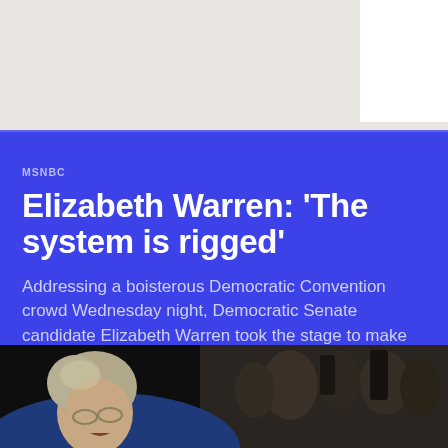MSNBC
Elizabeth Warren: 'The system is rigged'
Addressing a boisterous Democratic Convention crowd Wednesday night, Democratic Senate candidate Elizabeth Warren took the stage to make her case for President
[Figure (photo): Elizabeth Warren speaking at the Democratic Convention, shown from the left side with an audience visible in the background]